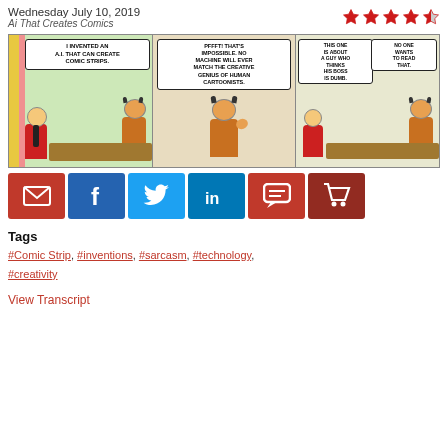Wednesday July 10, 2019
Ai That Creates Comics
[Figure (illustration): Dilbert comic strip with three panels. Panel 1: Dilbert says 'I invented an A.I. that can create comic strips.' to his boss. Panel 2: Boss says 'PFFFT! That's impossible. No machine will ever match the creative genius of human cartoonists.' Panel 3: Boss says 'This one is about a guy who thinks his boss is dumb.' Dilbert replies 'No one wants to read that.']
[Figure (infographic): Social sharing buttons: email (red), Facebook (blue), Twitter (light blue), LinkedIn (dark blue), comment (red), cart (dark red)]
Tags
#Comic Strip, #inventions, #sarcasm, #technology, #creativity
View Transcript